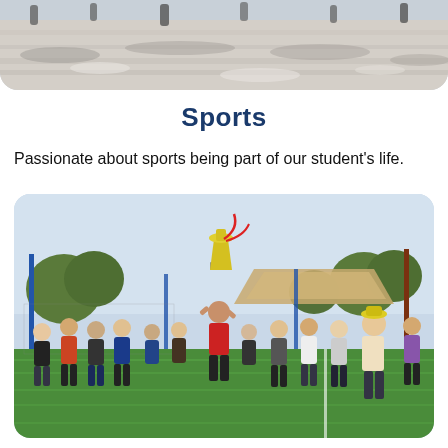[Figure (photo): Aerial/overhead view of people on sandy/snowy ground with shadows, partial view cropped at bottom with rounded corners]
Sports
Passionate about sports being part of our student's life.
[Figure (photo): Student in red jersey holding a large trophy with red ribbons above his head on a green sports field, surrounded by other students applauding, with trees and blue poles visible in background]